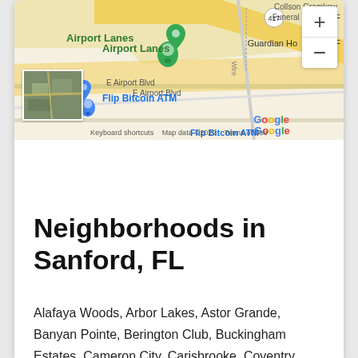[Figure (map): Google Maps screenshot showing area around E Airport Blvd in Sanford, FL. Features include Airport Lanes with green location pin, Flip Bitcoin ATM label, Guardian Ho... label, Collson Gramkow Funeral Home &... label, route 417 marker, yellow road markings, zoom +/- controls, Google logo, map thumbnail, and footer text: Keyboard shortcuts | Map data ©2022 | Terms of Use]
Neighborhoods in Sanford, FL
Alafaya Woods, Arbor Lakes, Astor Grande, Banyan Pointe, Berington Club, Buckingham Estates, Cameron City, Carisbrooke, Coventry,